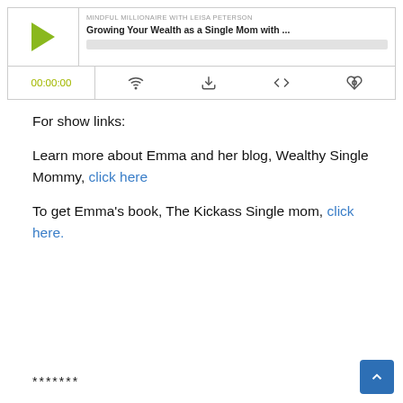[Figure (screenshot): Podcast player widget showing 'MINDFUL MILLIONAIRE WITH LEISA PETERSON' with episode title 'Growing Your Wealth as a Single Mom with ...' and controls including time 00:00:00 and icons for cast, download, embed, and share.]
For show links:
Learn more about Emma and her blog, Wealthy Single Mommy, click here
To get Emma’s book, The Kickass Single mom, click here.
*******